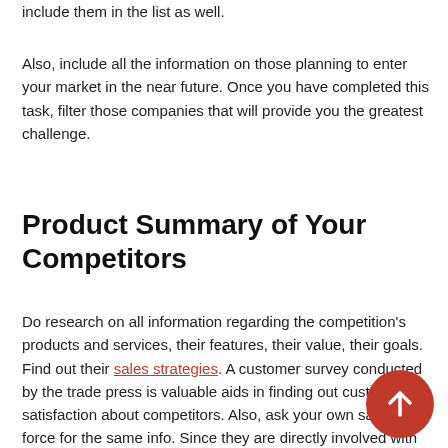include them in the list as well.
Also, include all the information on those planning to enter your market in the near future. Once you have completed this task, filter those companies that will provide you the greatest challenge.
Product Summary of Your Competitors
Do research on all information regarding the competition's products and services, their features, their value, their goals. Find out their sales strategies. A customer survey conducted by the trade press is valuable aids in finding out customer satisfaction about competitors. Also, ask your own sales force for the same info. Since they are directly involved with